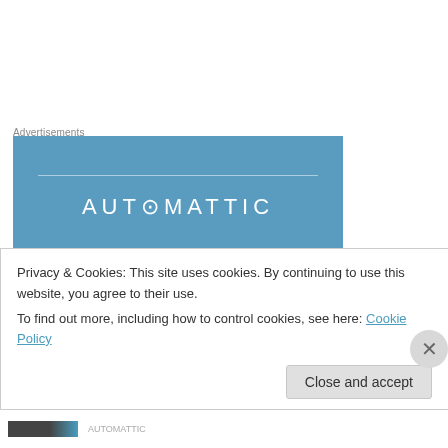Advertisements
[Figure (logo): Automattic advertisement banner — blue background with 'AUTOMATTIC' text in white centered]
Th3Scribbl3r on September 17, 2011 at 19:26
Always great to hear about a fellow scribe getting their work recognized, congratulations
Privacy & Cookies: This site uses cookies. By continuing to use this website, you agree to their use.
To find out more, including how to control cookies, see here: Cookie Policy
Close and accept